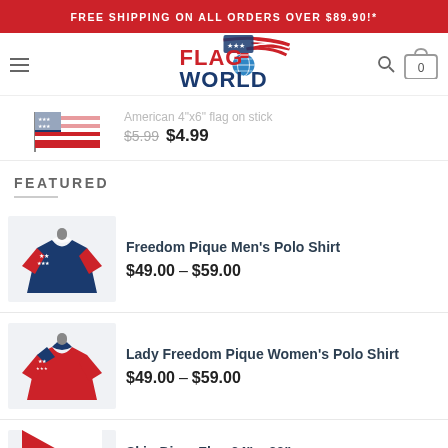FREE SHIPPING ON ALL ORDERS OVER $89.90!*
[Figure (logo): Flag World logo with American flag swoosh and globe]
American 4"x6" flag on stick
$5.99  $4.99
FEATURED
Freedom Pique Men's Polo Shirt
$49.00 – $59.00
Lady Freedom Pique Women's Polo Shirt
$49.00 – $59.00
Skin Diver Flag 24" x 30"